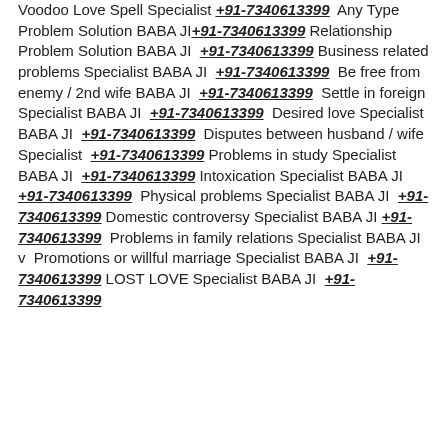Voodoo Love Spell Specialist +91-7340613399 Any Type Problem Solution BABA JI +91-7340613399 Relationship Problem Solution BABA JI +91-7340613399 Business related problems Specialist BABA JI +91-7340613399 Be free from enemy / 2nd wife BABA JI +91-7340613399 Settle in foreign Specialist BABA JI +91-7340613399 Desired love Specialist BABA JI +91-7340613399 Disputes between husband / wife Specialist +91-7340613399 Problems in study Specialist BABA JI +91-7340613399 Intoxication Specialist BABA JI +91-7340613399 Physical problems Specialist BABA JI +91-7340613399 Domestic controversy Specialist BABA JI +91-7340613399 Problems in family relations Specialist BABA JI v Promotions or willful marriage Specialist BABA JI +91-7340613399 LOST LOVE Specialist BABA JI +91-7340613399